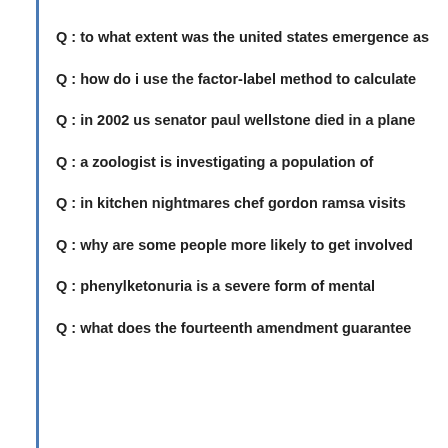Q : to what extent was the united states emergence as
Q : how do i use the factor-label method to calculate
Q : in 2002 us senator paul wellstone died in a plane
Q : a zoologist is investigating a population of
Q : in kitchen nightmares chef gordon ramsa visits
Q : why are some people more likely to get involved
Q : phenylketonuria is a severe form of mental
Q : what does the fourteenth amendment guarantee